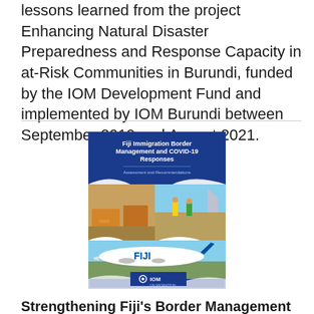lessons learned from the project Enhancing Natural Disaster Preparedness and Response Capacity in at-Risk Communities in Burundi, funded by the IOM Development Fund and implemented by IOM Burundi between September 2019 and August 2021.
[Figure (photo): Cover page of IOM publication titled 'Fiji Immigration Border Management and COVID-19 Responses: Assessment and Recommendations', showing images of aircraft and airport workers on a tarmac, with IOM logo.]
Strengthening Fiji's Border Management Capacity